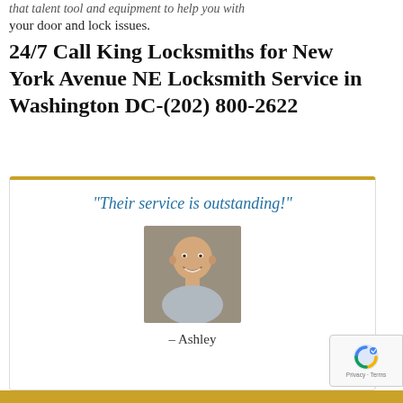that talent tool and equipment to help you with your door and lock issues.
24/7 Call King Locksmiths for New York Avenue NE Locksmith Service in Washington DC-(202) 800-2622
“Their service is outstanding!”
[Figure (photo): Headshot of a bald smiling middle-aged man in a light gray shirt]
– Ashley